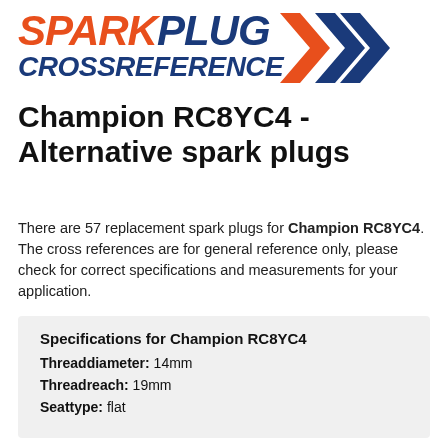[Figure (logo): SparkPlug CrossReference logo with orange SPARK text, blue PLUG text, blue CROSSREFERENCE text, and double chevron arrows in orange and blue]
Champion RC8YC4 - Alternative spark plugs
There are 57 replacement spark plugs for Champion RC8YC4. The cross references are for general reference only, please check for correct specifications and measurements for your application.
Specifications for Champion RC8YC4
Threaddiameter: 14mm
Threadreach: 19mm
Seattype: flat